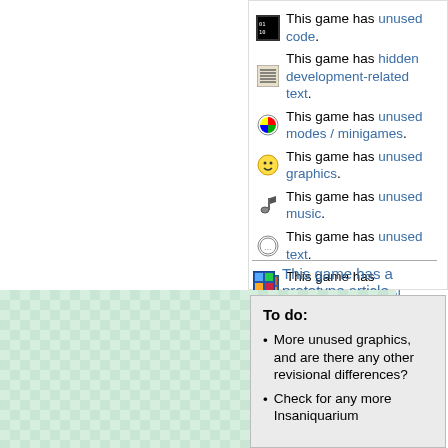This game has unused code.
This game has hidden development-related text.
This game has unused modes / minigames.
This game has unused graphics.
This game has unused music.
This game has unused text.
This game has debugging material.
This game has revisional differences.
This game has a prototype article
This game has a prerelease article
To do:
More unused graphics, and are there any other revisional differences?
Check for any more Insaniquarium